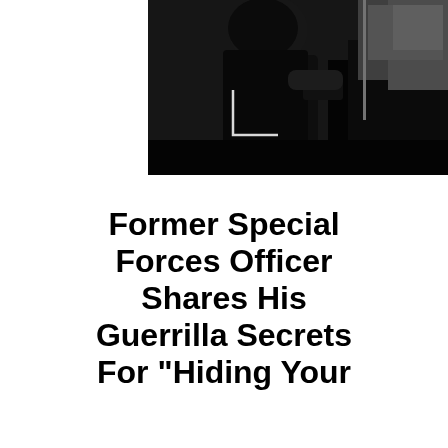[Figure (photo): Black and white photo of a person in a dark room, partially silhouetted, with a camera viewfinder bracket overlay in the lower-left area of the image.]
Former Special Forces Officer Shares His Guerrilla Secrets For "Hiding Your